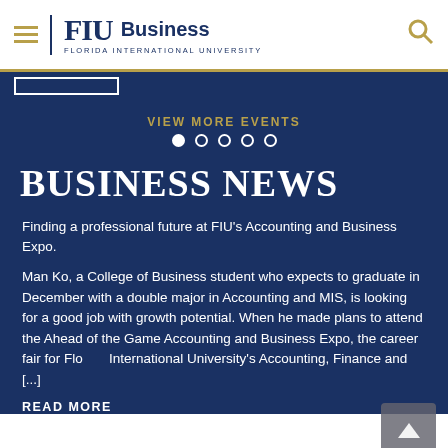FIU Business - Florida International University
VIEW MORE EVENTS
BUSINESS NEWS
Finding a professional future at FIU's Accounting and Business Expo.
Man Ko, a College of Business student who expects to graduate in December with a double major in Accounting and MIS, is looking for a good job with growth potential. When he made plans to attend the Ahead of the Game Accounting and Business Expo, the career fair for Florida International University's Accounting, Finance and [...]
READ MORE